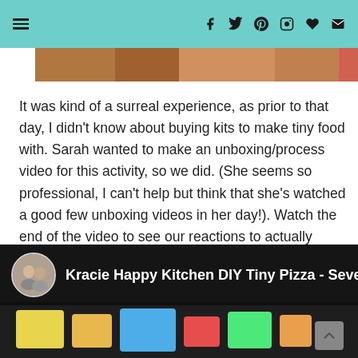Navigation menu and social icons (Facebook, Twitter, Pinterest, Instagram, Heart, Email) on teal background
[Figure (photo): Partial image of food items (top sliver visible)]
It was kind of a surreal experience, as prior to that day, I didn't know about buying kits to make tiny food with. Sarah wanted to make an unboxing/process video for this activity, so we did. (She seems so professional, I can't help but think that she's watched a good few unboxing videos in her day!). Watch the end of the video to see our reactions to actually eating what we made. Guess which one was more edible--the pizza or the hashbrowns?
[Figure (screenshot): Video thumbnail showing 'Kracie Happy Kitchen DIY Tiny Pizza - Seven In...' with circular avatar of a couple on dark background with colorful food imagery]